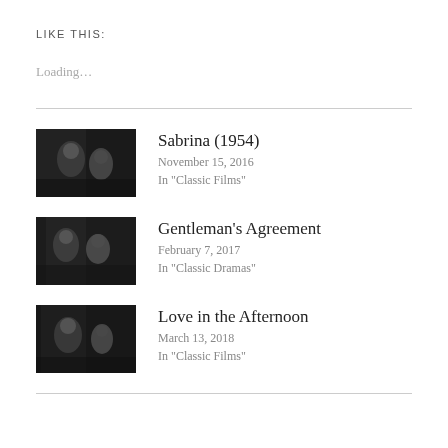LIKE THIS:
Loading...
[Figure (photo): Black and white film still from Sabrina (1954)]
Sabrina (1954)
November 15, 2016
In "Classic Films"
[Figure (photo): Black and white film still from Gentleman's Agreement]
Gentleman's Agreement
February 7, 2017
In "Classic Dramas"
[Figure (photo): Black and white film still from Love in the Afternoon]
Love in the Afternoon
March 13, 2018
In "Classic Films"